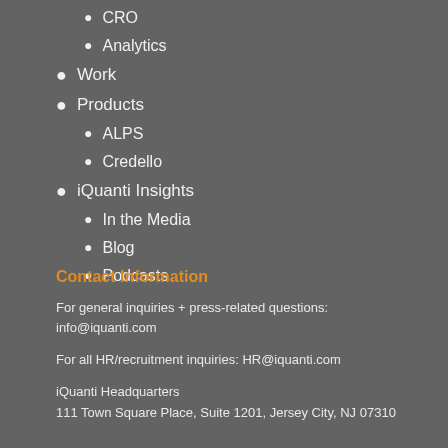CRO
Analytics
Work
Products
ALPS
Credello
iQuanti Insights
In the Media
Blog
Podcasts
Contact Information
For general inquiries + press-related questions:
info@iquanti.com
For all HR/recruitment inquiries: HR@iquanti.com
iQuanti Headquarters
111 Town Square Place, Suite 1201, Jersey City, NJ 07310